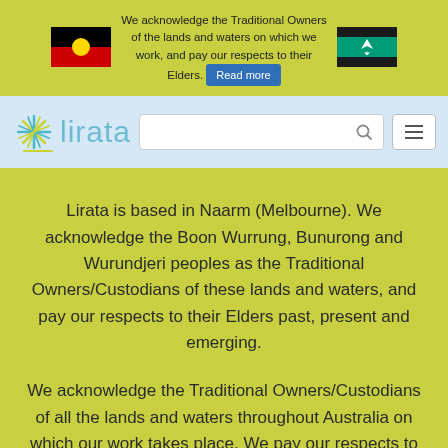[Figure (illustration): Aboriginal flag — black top half, red bottom half, yellow circle in center]
We acknowledge the Traditional Owners of the lands and waters on which we work, and pay our respects to their Elders. Read more
[Figure (illustration): Torres Strait Islander flag — green and blue stripes with white star and white headdress symbol]
[Figure (logo): Lirata logo — starburst/asterisk icon in teal/yellow and the word lirata in light blue]
Lirata is based in Naarm (Melbourne). We acknowledge the Boon Wurrung, Bunurong and Wurundjeri peoples as the Traditional Owners/Custodians of these lands and waters, and pay our respects to their Elders past, present and emerging.
We acknowledge the Traditional Owners/Custodians of all the lands and waters throughout Australia on which our work takes place. We pay our respects to their